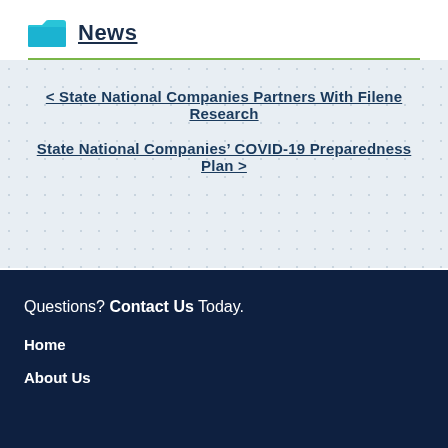News
< State National Companies Partners With Filene Research
State National Companies' COVID-19 Preparedness Plan >
Questions? Contact Us Today.
Home
About Us